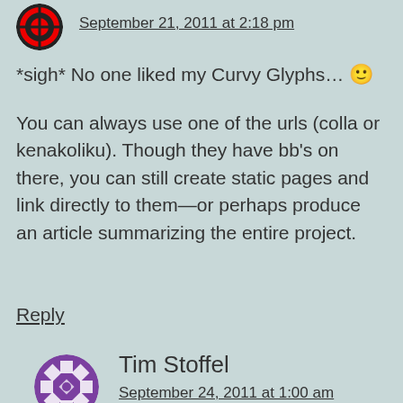September 21, 2011 at 2:18 pm
*sigh* No one liked my Curvy Glyphs… 🙂
You can always use one of the urls (colla or kenakoliku). Though they have bb's on there, you can still create static pages and link directly to them—or perhaps produce an article summarizing the entire project.
Reply
Tim Stoffel
September 24, 2011 at 1:00 am